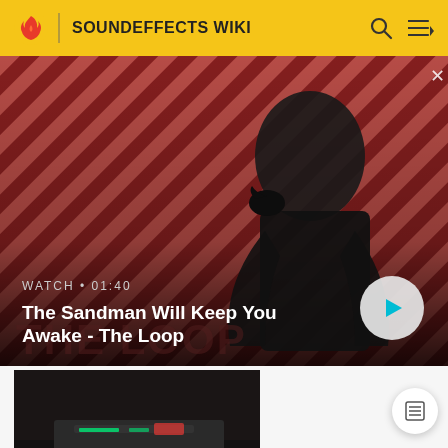SOUNDEFFECTS WIKI
[Figure (screenshot): Video banner showing The Sandman character with a raven, diagonal red/dark stripe background, WATCH • 01:40 label, title 'The Sandman Will Keep You Awake - The Loop', and a play button]
[Figure (screenshot): Thumbnail image from Star Wars: Episode III - Revenge of the Sith showing interior scene with sci-fi equipment]
Star Wars: Episode III - Revenge of the Sith (2005) SKYWALKER, ALARM · COMPUTER ALARM NOISE (x3)